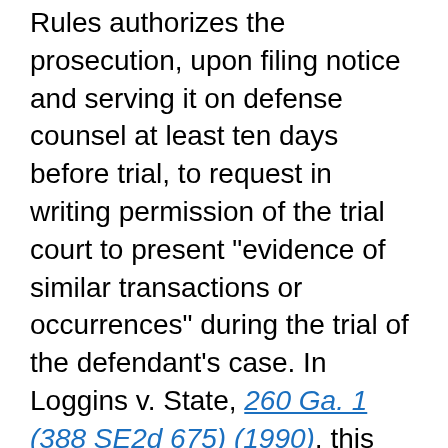Rules authorizes the prosecution, upon filing notice and serving it on defense counsel at least ten days before trial, to request in writing permission of the trial court to present "evidence of similar transactions or occurrences" during the trial of the defendant's case. In Loggins v. State, 260 Ga. 1 (388 SE2d 675) (1990), this Court determined that the rule's requirement that a defendant be afforded pre-trial notification of the prosecution's intent to use specific bad acts was a matter of fundamental fairness, and held that the rule was applicable to "those acts or occurrences which are categorized as prior difficulties" as well as acts categorized as similar